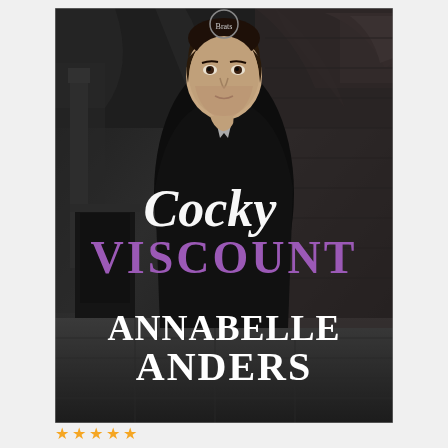[Figure (illustration): Book cover for 'Cocky Viscount' by Annabelle Anders. Black and white photograph of a young man in Regency-era dark coat standing in a Gothic stone building interior with arched ceilings. The title 'Cocky' is written in white script font overlaid on the image, 'VISCOUNT' in large purple serif letters below it, and 'ANNABELLE ANDERS' in large white serif letters at the bottom. A small publisher logo appears at the top center.]